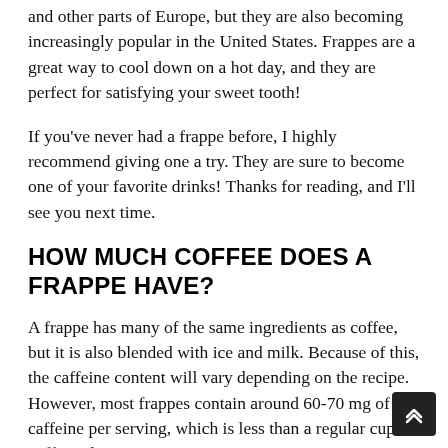and other parts of Europe, but they are also becoming increasingly popular in the United States. Frappes are a great way to cool down on a hot day, and they are perfect for satisfying your sweet tooth!
If you've never had a frappe before, I highly recommend giving one a try. They are sure to become one of your favorite drinks! Thanks for reading, and I'll see you next time.
HOW MUCH COFFEE DOES A FRAPPE HAVE?
A frappe has many of the same ingredients as coffee, but it is also blended with ice and milk. Because of this, the caffeine content will vary depending on the recipe. However, most frappes contain around 60-70 mg of caffeine per serving, which is less than a regular cup of coffee. This